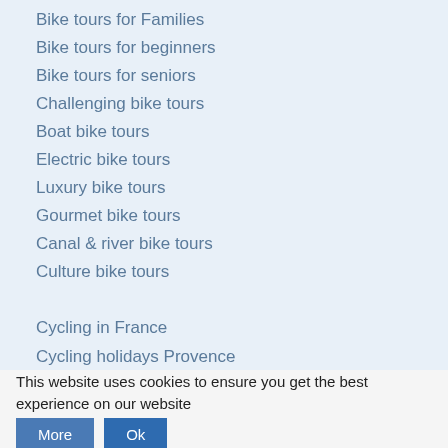Bike tours for Families
Bike tours for beginners
Bike tours for seniors
Challenging bike tours
Boat bike tours
Electric bike tours
Luxury bike tours
Gourmet bike tours
Canal & river bike tours
Culture bike tours
Cycling in France
Cycling holidays Provence
Cycling holidays Canal du Midi
Cycling in Albania
Cycling in the Baltic States
This website uses cookies to ensure you get the best experience on our website
More
Ok